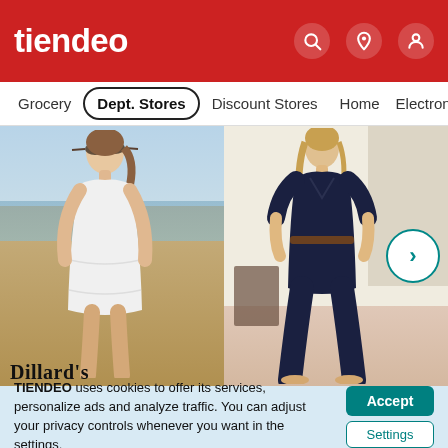tiendeo
Grocery  Dept. Stores  Discount Stores  Home  Electronic
[Figure (photo): Tiendeo website screenshot showing two fashion images side by side: a woman in a white dress on a beach (left) and a woman in a dark navy jumpsuit indoors (right), with a Dillard's logo overlay and a next arrow button.]
TIENDEO uses cookies to offer its services, personalize ads and analyze traffic. You can adjust your privacy controls whenever you want in the settings.